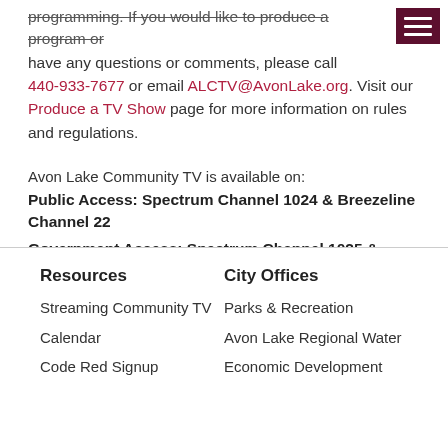programming. If you would like to produce a program or have any questions or comments, please call 440-933-7677 or email ALCTV@AvonLake.org. Visit our Produce a TV Show page for more information on rules and regulations.
Avon Lake Community TV is available on:
Public Access: Spectrum Channel 1024 & Breezeline Channel 22
Government Access: Spectrum Channel 1025 & Breezeline Channel 21
Resources
City Offices
Streaming Community TV
Parks & Recreation
Calendar
Avon Lake Regional Water
Code Red Signup
Economic Development